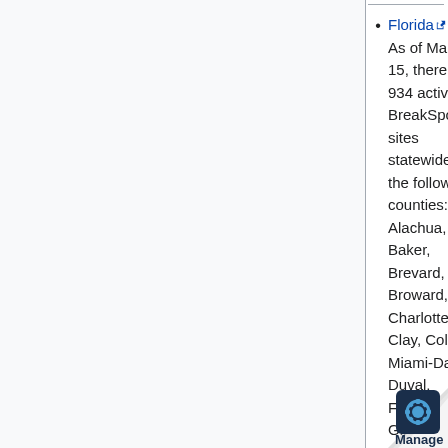Florida [external link] As of March 15, there are 934 active BreakSpot sites statewide in the following counties: Alachua, Baker, Brevard, Broward, Charlotte, Clay, Collier, Miami-Dade, Duval, Franklin, Gilchrist, Hamilton, Hardee, Hillsborough, Lake, Lee, Leon, Levy, Liberty, Manatee, Marion, Osceola, Palm Beach, Pasco, Pinellas, Polk, St. Johns, St. Lucie, Santa Rosa, and Seminole
Lee County School [external link] Breakfast and lunch will be served together in a single bag. The meals are free for anyone under 18 years of age. Each child must be present. Distribution will happen at multiple sites between 9:00am and 11:0[cut off]